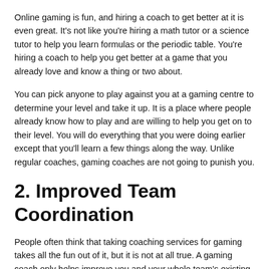Online gaming is fun, and hiring a coach to get better at it is even great. It's not like you're hiring a math tutor or a science tutor to help you learn formulas or the periodic table. You're hiring a coach to help you get better at a game that you already love and know a thing or two about.
You can pick anyone to play against you at a gaming centre to determine your level and take it up. It is a place where people already know how to play and are willing to help you get on to their level. You will do everything that you were doing earlier except that you'll learn a few things along the way. Unlike regular coaches, gaming coaches are not going to punish you.
2. Improved Team Coordination
People often think that taking coaching services for gaming takes all the fun out of it, but it is not at all true. A gaming coach only helps improve you and your whole team's existing skills and reach your